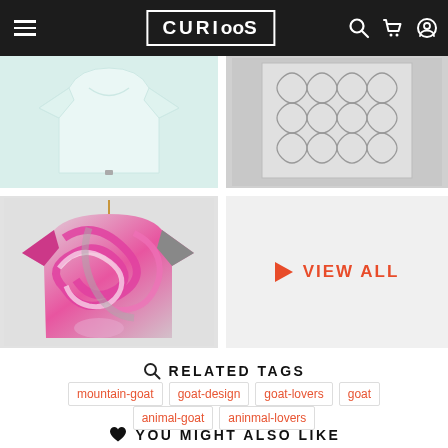CURIOOS
[Figure (photo): Top-left product: mint/pale blue t-shirt on white background]
[Figure (photo): Top-right product: grey decorative swirl pattern fabric/t-shirt]
[Figure (photo): Bottom-left product: pink/grey marble swirl pattern t-shirt on hanger]
[Figure (other): VIEW ALL button cell with orange-red play arrow and bold text]
RELATED TAGS
mountain-goat
goat-design
goat-lovers
goat
animal-goat
aninmal-lovers
YOU MIGHT ALSO LIKE